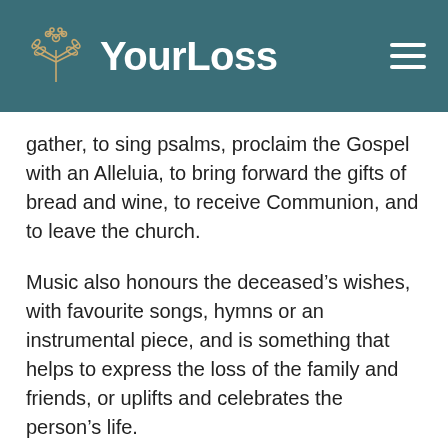YourLoss
gather, to sing psalms, proclaim the Gospel with an Alleluia, to bring forward the gifts of bread and wine, to receive Communion, and to leave the church.
Music also honours the deceased’s wishes, with favourite songs, hymns or an instrumental piece, and is something that helps to express the loss of the family and friends, or uplifts and celebrates the person’s life.
A church musician, priest, and funeral planner can all help guide musical choices. Some songs might be best for the